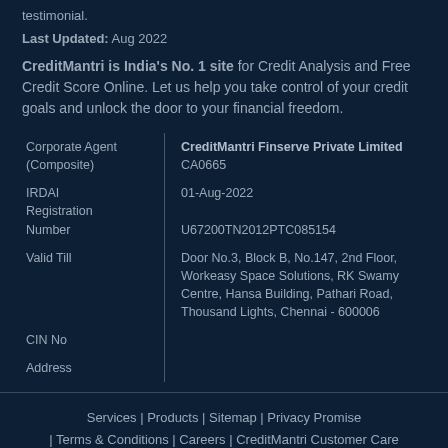testimonial.
Last Updated: Aug 2022
CreditMantri is India's No. 1 site for Credit Analysis and Free Credit Score Online. Let us help you take control of your credit goals and unlock the door to your financial freedom.
| Corporate Agent (Composite) | CreditMantri Finserve Private Limited
CA0665 |
| IRDAI Registration Number | 01-Aug-2022
U67200TN2012PTC085154 |
| Valid Till | Door No.3, Block B, No.147, 2nd Floor, Workeasy Space Solutions, RK Swamy Centre, Hansa Building, Pathari Road, Thousand Lights, Chennai - 600006 |
| CIN No |  |
| Address |  |
Services | Products | Sitemap | Privacy Promise | Terms & Conditions | Careers | CreditMantri Customer Care
Copyright © 2022 CreditMantri